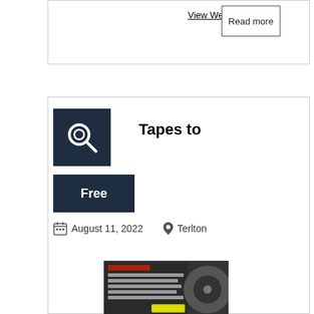View Website
Read more
Tapes to
Free
August 11, 2022
Terlton
[Figure (photo): Tips4VideotoDVD promotional image showing videotape conversion service]
Transfer Mini DV to Digital - Tips4VideotoDVD Here at Tips4VideotoDVD we can preserve your treasured memories captured on videotape such as VHS, VHS-c, Hi8, Mini DV, Betamax, Cine Reel,